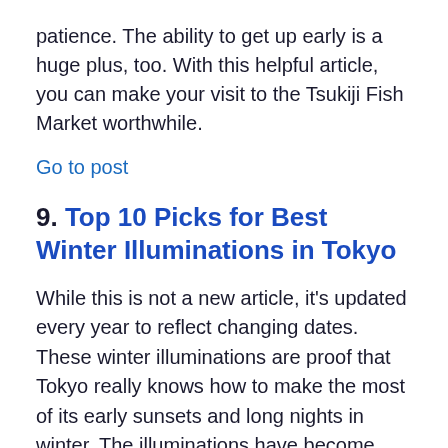patience. The ability to get up early is a huge plus, too. With this helpful article, you can make your visit to the Tsukiji Fish Market worthwhile.
Go to post
9. Top 10 Picks for Best Winter Illuminations in Tokyo
While this is not a new article, it's updated every year to reflect changing dates. These winter illuminations are proof that Tokyo really knows how to make the most of its early sunsets and long nights in winter. The illuminations have become increasingly sophisticated over the years, with the music-and-light shows increasingly adding